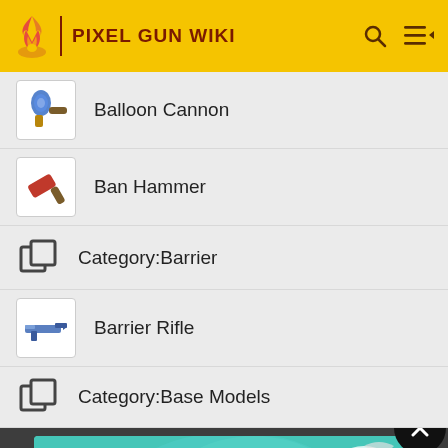PIXEL GUN WIKI
Balloon Cannon
Ban Hammer
Category:Barrier
Barrier Rifle
Category:Base Models
[Figure (screenshot): Apex Legends advertisement banner showing a character with a sniper rifle and the text APEX LEGENDS]
B...
B...